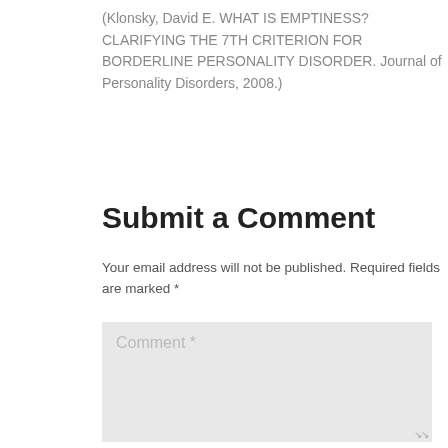(Klonsky, David E. WHAT IS EMPTINESS? CLARIFYING THE 7TH CRITERION FOR BORDERLINE PERSONALITY DISORDER. Journal of Personality Disorders, 2008.)
Submit a Comment
Your email address will not be published. Required fields are marked *
Comment *